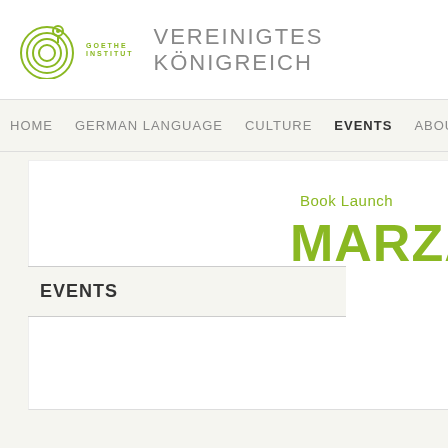Goethe Institut — VEREINIGTES KÖNIGREICH
HOME   GERMAN LANGUAGE   CULTURE   EVENTS   ABOU
Book Launch
MARZAHN
EVENTS